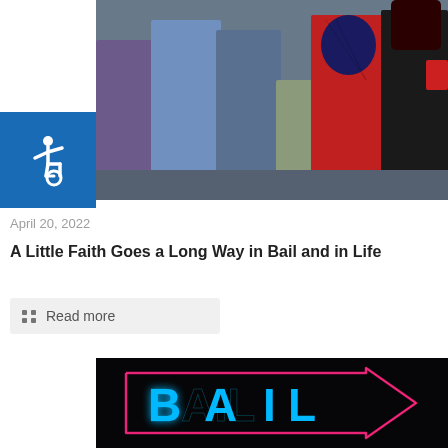[Figure (photo): Group photo of people including someone dressed as Spider-Man and another costumed character, posed together outdoors.]
[Figure (illustration): Blue accessibility/wheelchair symbol icon on a blue square background.]
April 20, 2022
A Little Faith Goes a Long Way in Bail and in Life
Read more
[Figure (photo): Neon sign spelling BAIL in blue letters inside a pink neon arrow pointing right, against a dark background.]